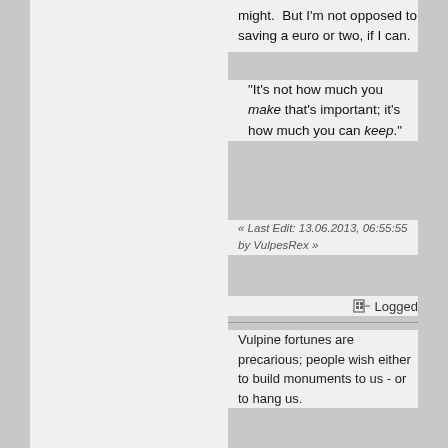might.  But I'm not opposed to saving a euro or two, if I can.
"It's not how much you make that's important; it's how much you can keep."
« Last Edit: 13.06.2013, 06:55:55 by VulpesRex »
Logged
Vulpine fortunes are precarious; people wish either to build monuments to us - or to hang us.
VulpesRex
Regular Member
Country:
Offline
Gender:
Posts: 176
[Figure (photo): Avatar image of a fox/wolf, pencil drawing, copyright 2005 Dark Natasha]
Re: Shipping Artwork Home - Possible Options?
« Reply #8 on: 13.06.2013, 07:36:31 »
Quote from: Pan Hesekiel Shiroi on 08.06.2013, 10:58:03
Well, Cairyn already said it ... your